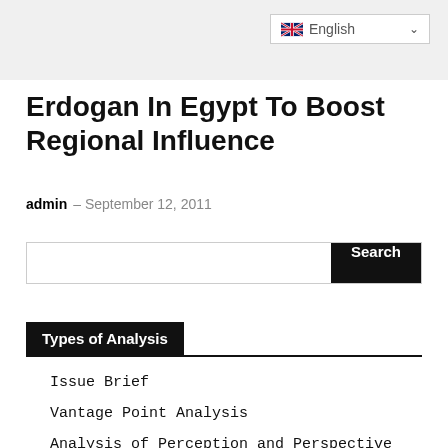English
Erdogan In Egypt To Boost Regional Influence
admin – September 12, 2011
Types of Analysis
Issue Brief
Vantage Point Analysis
Analysis of Perception and Perspective
Risk Assessments
Global Security Advisor